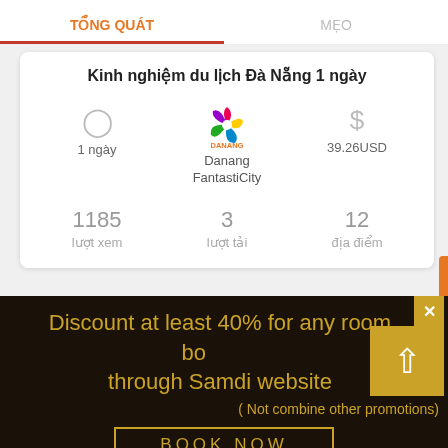TỔNG QUÁT | MẸO
Kinh nghiệm du lịch Đà Nẵng 1 ngày
1 ngày | Danang FantastiCity | 39.26USD
1185 lượt xem | 3 lượt tải | 12 địa điểm
Ngày 1
Discount at least 40% for any room booking through Samdi website
( Not combine other promotions)
BOOK NOW